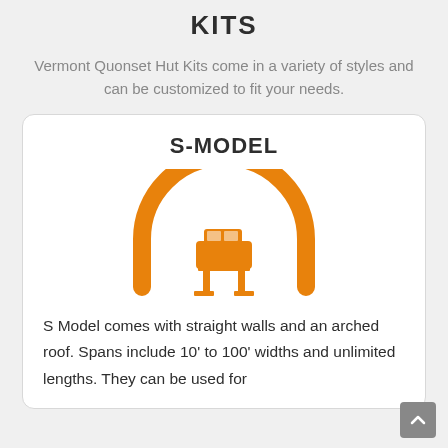KITS
Vermont Quonset Hut Kits come in a variety of styles and can be customized to fit your needs.
S-MODEL
[Figure (illustration): Orange icon of an arch/quonset hut shape with a car on a lift inside it, representing S-Model building style.]
S Model comes with straight walls and an arched roof. Spans include 10' to 100' widths and unlimited lengths. They can be used for